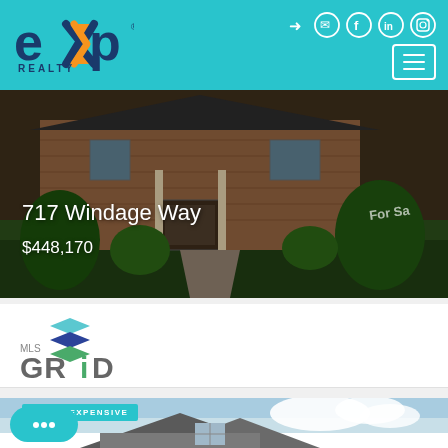[Figure (logo): eXp Realty logo with orange X accent on teal/cyan header background]
[Figure (photo): Exterior photo of a brick house at 717 Windage Way listed for sale with landscaping and for sale sign]
717 Windage Way
$448,170
[Figure (logo): MLS GRID logo with stacked colored diamond layers above the text MLS GRID in gray and green]
[Figure (photo): Exterior photo of a house with blue sky background]
LEAST EXPENSIVE